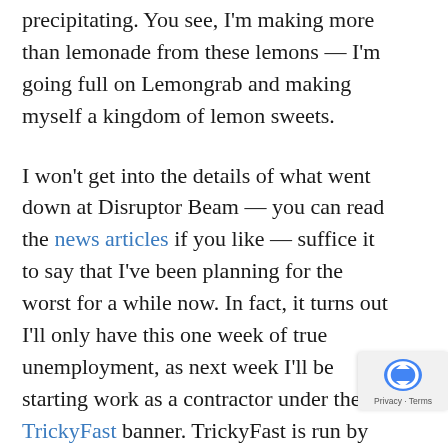precipitating. You see, I'm making more than lemonade from these lemons — I'm going full on Lemongrab and making myself a kingdom of lemon sweets.
I won't get into the details of what went down at Disruptor Beam — you can read the news articles if you like — suffice it to say that I've been planning for the worst for a while now. In fact, it turns out I'll only have this one week of true unemployment, as next week I'll be starting work as a contractor under the TrickyFast banner. TrickyFast is run by an old friend from my days at 38 Studios, and specializes in providing short and long term